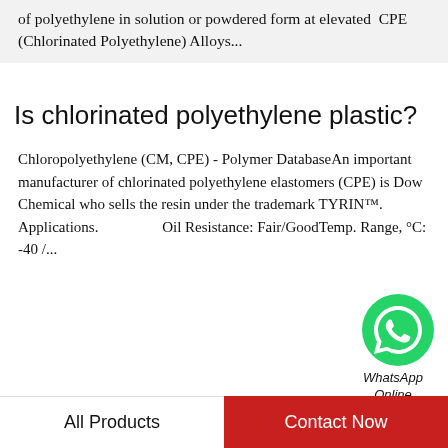of polyethylene in solution or powdered form at elevated  CPE (Chlorinated Polyethylene) Alloys...
Is chlorinated polyethylene plastic?
Chloropolyethylene (CM, CPE) - Polymer DatabaseAn important manufacturer of chlorinated polyethylene elastomers (CPE) is Dow Chemical who sells the resin under the trademark TYRIN™. Applications. Oil Resistance: Fair/GoodTemp. Range, °C: -40 /...
[Figure (illustration): WhatsApp Online green chat bubble icon with WhatsApp Online label]
Recommended Products
[Figure (photo): White powder on black circular plate/dish]
[Figure (photo): White powder pile on grey background]
All Products
Contact Now